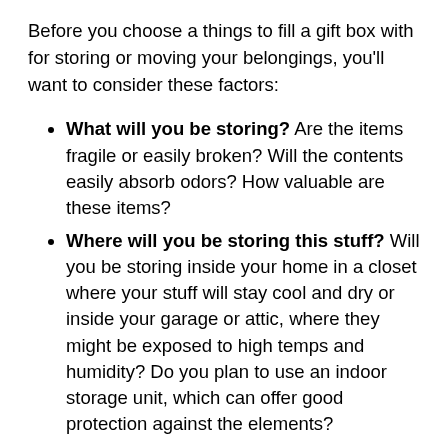Before you choose a things to fill a gift box with for storing or moving your belongings, you'll want to consider these factors:
What will you be storing? Are the items fragile or easily broken? Will the contents easily absorb odors? How valuable are these items?
Where will you be storing this stuff? Will you be storing inside your home in a closet where your stuff will stay cool and dry or inside your garage or attic, where they might be exposed to high temps and humidity? Do you plan to use an indoor storage unit, which can offer good protection against the elements?
How long will you be storing? Will